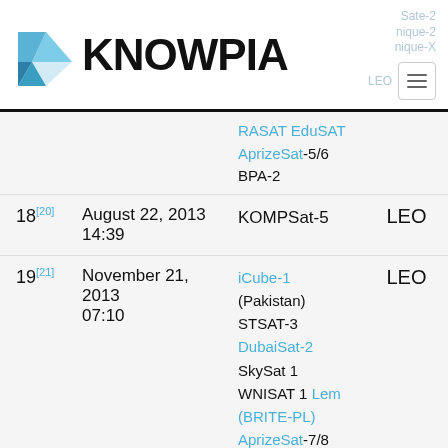KNOWPIA
| # | Date | Payload | Orbit |
| --- | --- | --- | --- |
|  |  | RASAT EduSAT AprizeSat-5/6 BPA-2 |  |
| 18[20] | August 22, 2013 14:39 | KOMPSat-5 | LEO |
| 19[21] | November 21, 2013 07:10 | iCube-1 (Pakistan) STSAT-3 DubaiSat-2 SkySat 1 WNISAT 1 Lem (BRITE-PL) AprizeSat-7/8 UniSat 5 Delfi-n3Xt Dove 3/4 Triton-1 | LEO |